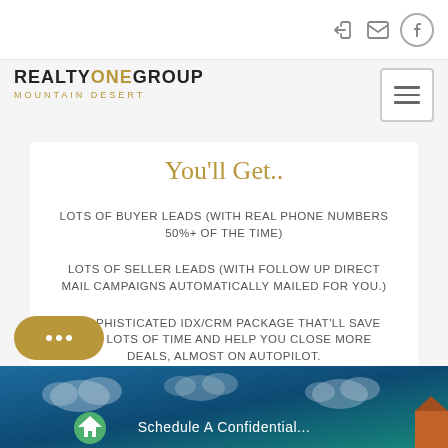REALTY ONE GROUP MOUNTAIN DESERT — navigation icons (login, email, facebook) and hamburger menu
[Figure (logo): Realty One Group Mountain Desert logo — REALTY in black bold, ONE in gold, GROUP in black bold, MOUNTAIN DESERT in gold spaced caps beneath]
You'll Get..
LOTS OF BUYER LEADS (WITH REAL PHONE NUMBERS 50%+ OF THE TIME)
LOTS OF SELLER LEADS (WITH FOLLOW UP DIRECT MAIL CAMPAIGNS AUTOMATICALLY MAILED FOR YOU.)
A SOPHISTICATED IDX/CRM PACKAGE THAT'LL SAVE YOU LOTS OF TIME AND HELP YOU CLOSE MORE DEALS, ALMOST ON AUTOPILOT.
[Figure (screenshot): Bottom strip showing teal/blue night sky background with clouds and partial text 'Schedule A Confidential...' with a house icon]